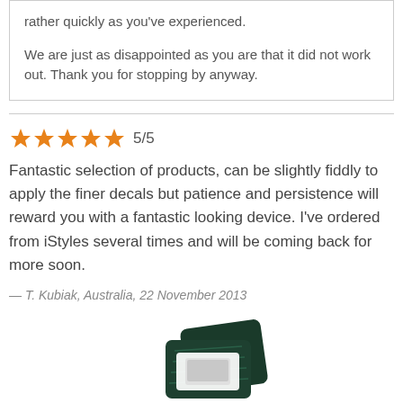rather quickly as you've experienced.

We are just as disappointed as you are that it did not work out. Thank you for stopping by anyway.
5/5
Fantastic selection of products, can be slightly fiddly to apply the finer decals but patience and persistence will reward you with a fantastic looking device. I've ordered from iStyles several times and will be coming back for more soon.
— T. Kubiak, Australia, 22 November 2013
[Figure (photo): Photo of dark green patterned device cases/boxes stacked]